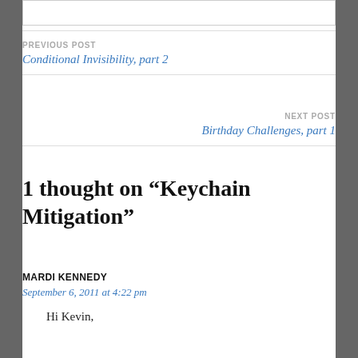PREVIOUS POST
Conditional Invisibility, part 2
NEXT POST
Birthday Challenges, part 1
1 thought on “Keychain Mitigation”
MARDI KENNEDY
September 6, 2011 at 4:22 pm
Hi Kevin,